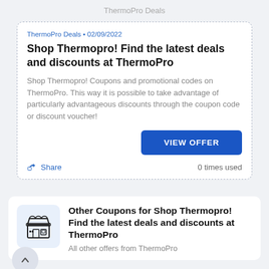ThermoPro Deals
ThermoPro Deals • 02/09/2022
Shop Thermopro! Find the latest deals and discounts at ThermoPro
Shop Thermopro! Coupons and promotional codes on ThermoPro. This way it is possible to take advantage of particularly advantageous discounts through the coupon code or discount voucher!
VIEW OFFER
Share  0 times used
Other Coupons for Shop Thermopro! Find the latest deals and discounts at ThermoPro
All other offers from ThermoPro